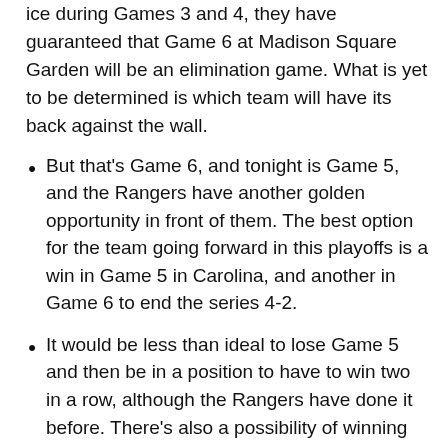ice during Games 3 and 4, they have guaranteed that Game 6 at Madison Square Garden will be an elimination game. What is yet to be determined is which team will have its back against the wall.
But that's Game 6, and tonight is Game 5, and the Rangers have another golden opportunity in front of them. The best option for the team going forward in this playoffs is a win in Game 5 in Carolina, and another in Game 6 to end the series 4-2.
It would be less than ideal to lose Game 5 and then be in a position to have to win two in a row, although the Rangers have done it before. There's also a possibility of winning Game 5, losing Game 6, and then having to win Game 7... but it would be nice to avoid that drama.
Momentum is fluid in the playoffs, and even though